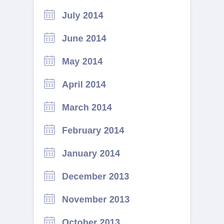July 2014
June 2014
May 2014
April 2014
March 2014
February 2014
January 2014
December 2013
November 2013
October 2013
September 2013
August 2013